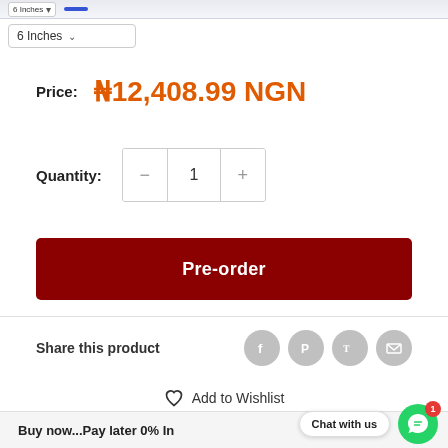6 Inches (dropdown)
Price: ₦12,408.99 NGN
Quantity: 1
Pre-order
Share this product
♡ Add to Wishlist
Buy now...Pay later 0% Int
Chat with us